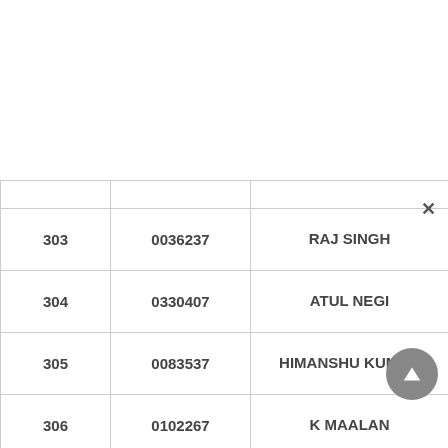| # | ID | Name |
| --- | --- | --- |
| 303 | 0036237 | RAJ SINGH |
| 304 | 0330407 | ATUL NEGI |
| 305 | 0083537 | HIMANSHU KUMAR |
| 306 | 0102267 | K MAALAN |
| 307 | 0000999 | JASKARN SINGH |
| 308 | 0004344 | DHANANJAY THAKARAM BHOR |
| 309 | 0096854 | K J ABHINAV |
| 310 | 0001757 | TEJ PRATAR SINGH |